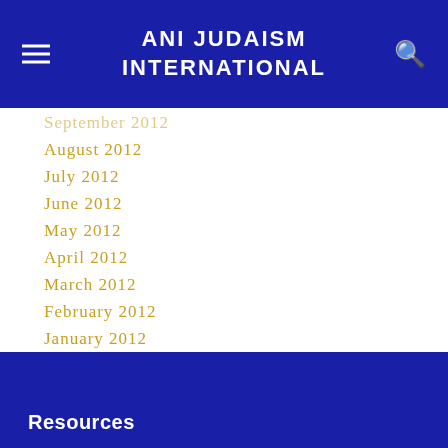ANI JUDAISM INTERNATIONAL
September 2012
August 2012
July 2012
June 2012
May 2012
April 2012
March 2012
February 2012
January 2012
December 2011
November 2011
October 2011
September 2011
RSS Feed
Resources